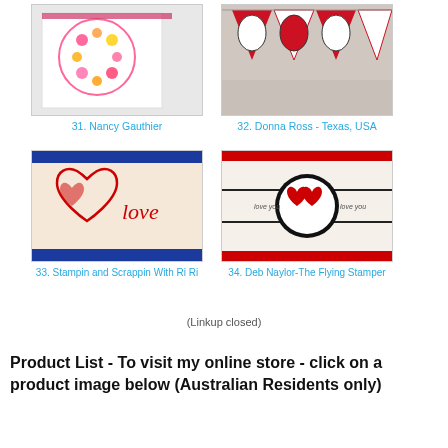[Figure (photo): Thumbnail image 31 - Nancy Gauthier, heart card with colorful flowers]
31. Nancy Gauthier
[Figure (photo): Thumbnail image 32 - Donna Ross Texas USA, red banner bunting]
32. Donna Ross - Texas, USA
[Figure (photo): Thumbnail image 33 - Stampin and Scrappin With Ri Ri, love card with red hearts]
33. Stampin and Scrappin With Ri Ri
[Figure (photo): Thumbnail image 34 - Deb Naylor-The Flying Stamper, card with red hearts and ladybirds]
34. Deb Naylor-The Flying Stamper
(Linkup closed)
Product List - To visit my online store - click on a product image below (Australian Residents only)